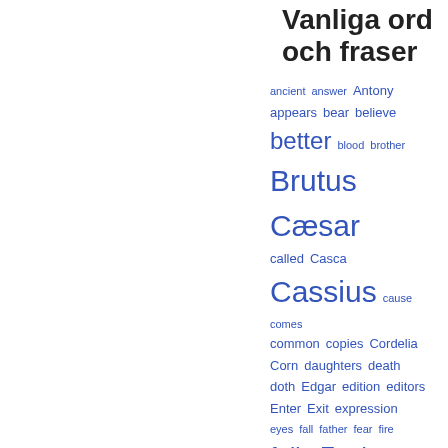Vanliga ord och fraser
[Figure (infographic): Word cloud of common words in blue, varying font sizes indicating frequency. Words include: ancient, answer, Antony, appears, bear, believe, better, blood, brother, Brutus, Cæsar, called, Casca, Cassius, cause, comes, common, copies, Cordelia, Corn, daughters, death, doth, Edgar, edition, editors, Enter, Exit, expression, eyes, fall, father, fear, fire, folio, Fool, fortune, give, Gloster, gods, hand, hast, hath, head, hear, heart, Henry, hold, honour, Johnson, Kent, kind]